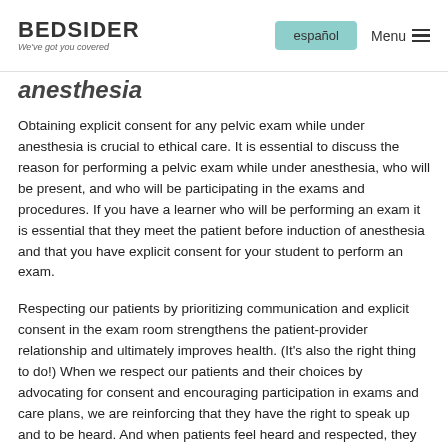BEDSIDER — We've got you covered | español | Menu
anesthesia
Obtaining explicit consent for any pelvic exam while under anesthesia is crucial to ethical care. It is essential to discuss the reason for performing a pelvic exam while under anesthesia, who will be present, and who will be participating in the exams and procedures. If you have a learner who will be performing an exam it is essential that they meet the patient before induction of anesthesia and that you have explicit consent for your student to perform an exam.
Respecting our patients by prioritizing communication and explicit consent in the exam room strengthens the patient-provider relationship and ultimately improves health. (It's also the right thing to do!) When we respect our patients and their choices by advocating for consent and encouraging participation in exams and care plans, we are reinforcing that they have the right to speak up and to be heard. And when patients feel heard and respected, they are more likely to come to us when they need our help instead of avoiding getting care.